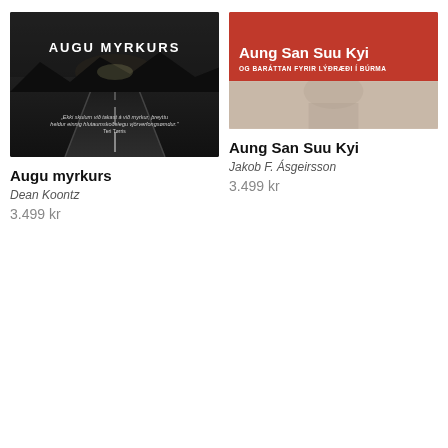[Figure (photo): Book cover for 'Augu myrkurs' by Dean Koontz – dark night road photograph with white title text and a quote]
Augu myrkurs
Dean Koontz
3.499 kr
[Figure (photo): Book cover for 'Aung San Suu Kyi' by Jakob F. Ásgeirsson – red top section with white title text, subtitle 'OG BARÁTTAN FYRIR LÝÐRÆÐI Í BÚRMA', and a bottom photo section]
Aung San Suu Kyi
Jakob F. Ásgeirsson
3.499 kr